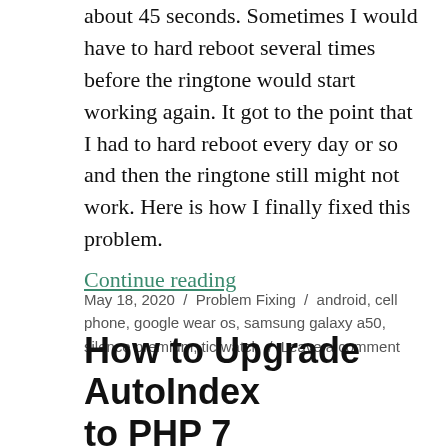about 45 seconds. Sometimes I would have to hard reboot several times before the ringtone would start working again. It got to the point that I had to hard reboot every day or so and then the ringtone still might not work. Here is how I finally fixed this problem.
Continue reading
May 18, 2020 / Problem Fixing / android, cell phone, google wear os, samsung galaxy a50, silence premium, tic watch / Leave a comment
How to Upgrade AutoIndex to PHP 7